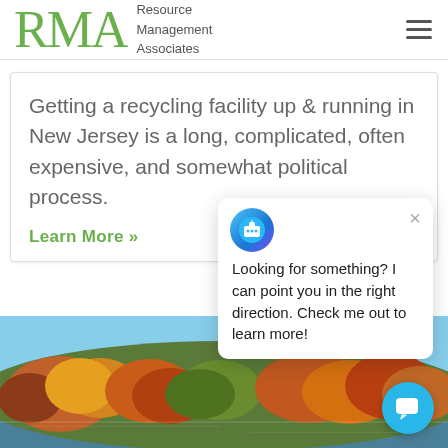RMA Resource Management Associates
Getting a recycling facility up & running in New Jersey is a long, complicated, often expensive, and somewhat political process.
Learn More »
Looking for something? I can point you in the right direction. Check me out to learn more!
[Figure (photo): Autumn foliage landscape with lake and trees in fall colors under a blue sky]